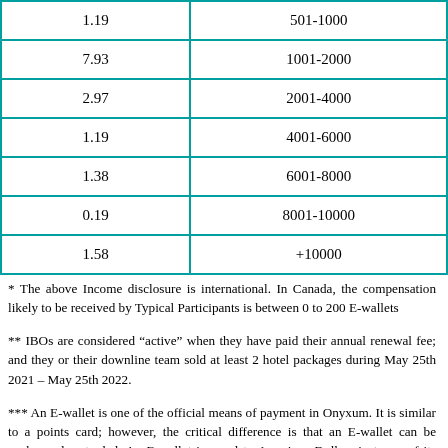| 1.19 | 501-1000 |
| 7.93 | 1001-2000 |
| 2.97 | 2001-4000 |
| 1.19 | 4001-6000 |
| 1.38 | 6001-8000 |
| 0.19 | 8001-10000 |
| 1.58 | +10000 |
* The above Income disclosure is international. In Canada, the compensation likely to be received by Typical Participants is between 0 to 200 E-wallets
** IBOs are considered “active” when they have paid their annual renewal fee; and they or their downline team sold at least 2 hotel packages during May 25th 2021 – May 25th 2022.
*** An E-wallet is one of the official means of payment in Onyxum. It is similar to a points card; however, the critical difference is that an E-wallet can be exchanged or traded. An E-wallet is equal to American Dollars in terms of its value (fees may be applied in